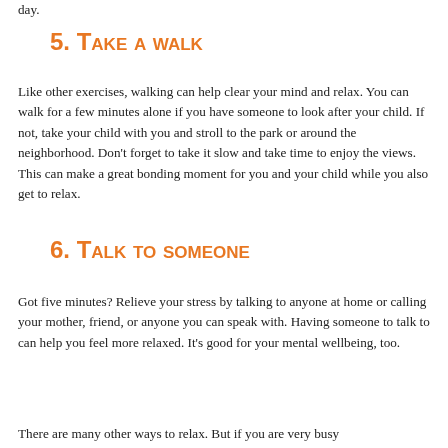day.
5. Take a walk
Like other exercises, walking can help clear your mind and relax. You can walk for a few minutes alone if you have someone to look after your child. If not, take your child with you and stroll to the park or around the neighborhood. Don't forget to take it slow and take time to enjoy the views. This can make a great bonding moment for you and your child while you also get to relax.
6. Talk to someone
Got five minutes? Relieve your stress by talking to anyone at home or calling your mother, friend, or anyone you can speak with. Having someone to talk to can help you feel more relaxed. It's good for your mental wellbeing, too.
There are many other ways to relax. But if you are very busy